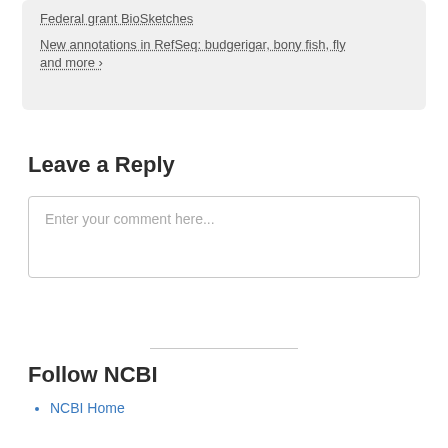Federal grant BioSketches
New annotations in RefSeq: budgerigar, bony fish, fly and more ›
Leave a Reply
Enter your comment here...
Follow NCBI
NCBI Home